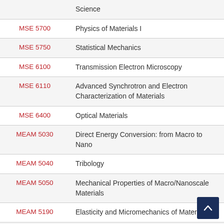| Course | Title |
| --- | --- |
|  | Science |
| MSE 5700 | Physics of Materials I |
| MSE 5750 | Statistical Mechanics |
| MSE 6100 | Transmission Electron Microscopy |
| MSE 6110 | Advanced Synchrotron and Electron Characterization of Materials |
| MSE 6400 | Optical Materials |
| MEAM 5030 | Direct Energy Conversion: from Macro to Nano |
| MEAM 5040 | Tribology |
| MEAM 5050 | Mechanical Properties of Macro/Nanoscale Materials |
| MEAM 5190 | Elasticity and Micromechanics of Materials |
| MEAM 5290 | Introduction to Micro- and Nano- |